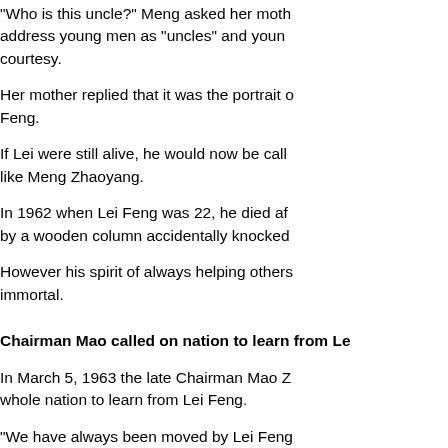"Who is this uncle?" Meng asked her moth... address young men as "uncles" and youn... courtesy.
Her mother replied that it was the portrait ... Feng.
If Lei were still alive, he would now be call... like Meng Zhaoyang.
In 1962 when Lei Feng was 22, he died af... by a wooden column accidentally knocked...
However his spirit of always helping others... immortal.
Chairman Mao called on nation to learn from Le...
In March 5, 1963 the late Chairman Mao Z... whole nation to learn from Lei Feng.
"We have always been moved by Lei Feng... Jingying, 81, "we are willing to learn from ...
Lei Feng's life was used as an example fo... that time. The date March 5 was designate... Learning from Lei Feng.